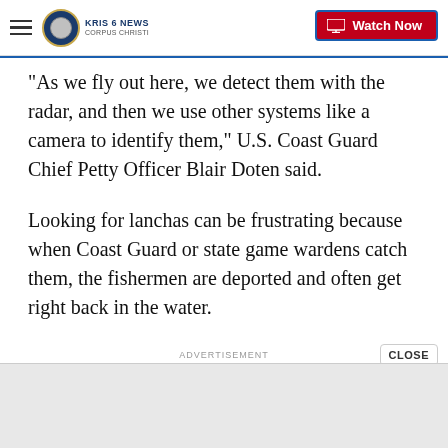KRIS 6 NEWS CORPUS CHRISTI — Watch Now
"As we fly out here, we detect them with the radar, and then we use other systems like a camera to identify them," U.S. Coast Guard Chief Petty Officer Blair Doten said.
Looking for lanchas can be frustrating because when Coast Guard or state game wardens catch them, the fishermen are deported and often get right back in the water.